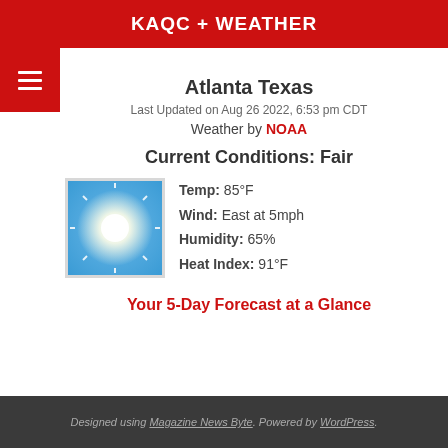KAQC + WEATHER
Atlanta Texas
Last Updated on Aug 26 2022, 6:53 pm CDT
Weather by NOAA
Current Conditions: Fair
[Figure (illustration): Sun icon with bright white starburst on blue gradient background, inside a light gray border box]
Temp: 85°F
Wind: East at 5mph
Humidity: 65%
Heat Index: 91°F
Your 5-Day Forecast at a Glance
Designed using Magazine News Byte. Powered by WordPress.